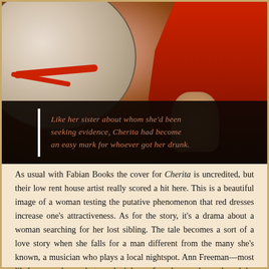[Figure (photo): A vintage book cover photograph showing a woman in a red dress seated at or near a round table. A red strap/purse is visible on the table. The background shows what appears to be stairs or a patterned surface. The image has warm, saturated tones typical of mid-century pulp fiction cover art.]
Like her sister about whom she'd been seeking evidence, Cherita had become an easy mark for whoever got her drunk.
As usual with Fabian Books the cover for Cherita is uncredited, but their low rent house artist really scored a hit here. This is a beautiful image of a woman testing the putative phenomenon that red dresses increase one's attractiveness. As for the story, it's a drama about a woman searching for her lost sibling. The tale becomes a sort of a love story when she falls for a man different from the many she's known, a musician who plays a local nightspot. Ann Freeman—most likely a pseudonym but we don't know for whom—also authored the Fabian sleaze novels